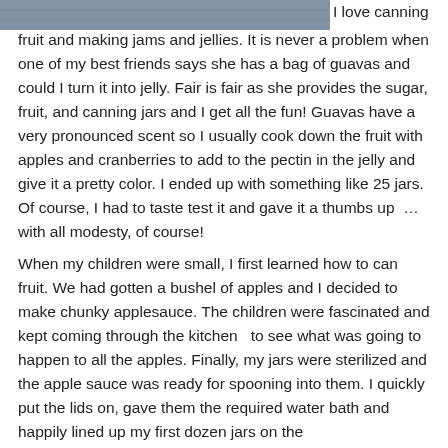[Figure (photo): Partial photo strip at top of page showing a blue-grey textured background, cropped to a horizontal band]
I love canning fruit and making jams and jellies. It is never a problem when one of my best friends says she has a bag of guavas and could I turn it into jelly. Fair is fair as she provides the sugar, fruit, and canning jars and I get all the fun! Guavas have a very pronounced scent so I usually cook down the fruit with apples and cranberries to add to the pectin in the jelly and give it a pretty color. I ended up with something like 25 jars. Of course, I had to taste test it and gave it a thumbs up … with all modesty, of course!
When my children were small, I first learned how to can fruit. We had gotten a bushel of apples and I decided to make chunky applesauce. The children were fascinated and kept coming through the kitchen  to see what was going to happen to all the apples. Finally, my jars were sterilized and the apple sauce was ready for spooning into them. I quickly put the lids on, gave them the required water bath and happily lined up my first dozen jars on the